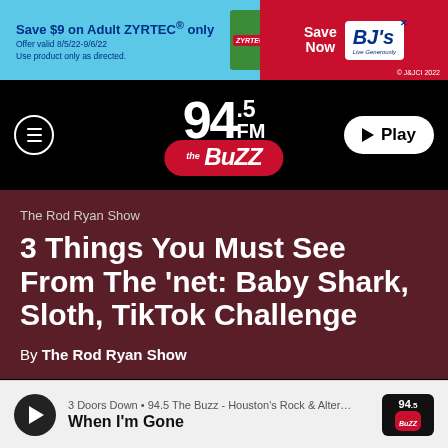[Figure (screenshot): Advertisement banner for Zyrtec and BJ's: 'Save $9 on Adult ZYRTEC® only. Offer valid 8/5/22-9/6/22. Use product only as directed.' with Save Now BJ's logo and © J&JCI 2022]
[Figure (logo): 94.5 FM The Buzz radio station logo with hamburger menu icon and Play button]
The Rod Ryan Show
3 Things You Must See From The 'net: Baby Shark, Sloth, TikTok Challenge
By The Rod Ryan Show
3 Doors Down • 94.5 The Buzz - Houston's Rock & Alter… When I'm Gone